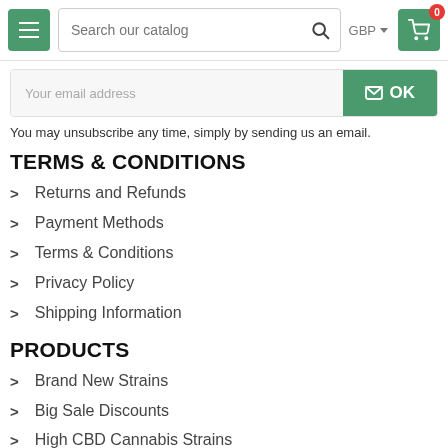Search our catalog | GBP | Cart (0)
Your email address | OK
You may unsubscribe any time, simply by sending us an email.
TERMS & CONDITIONS
Returns and Refunds
Payment Methods
Terms & Conditions
Privacy Policy
Shipping Information
PRODUCTS
Brand New Strains
Big Sale Discounts
High CBD Cannabis Strains